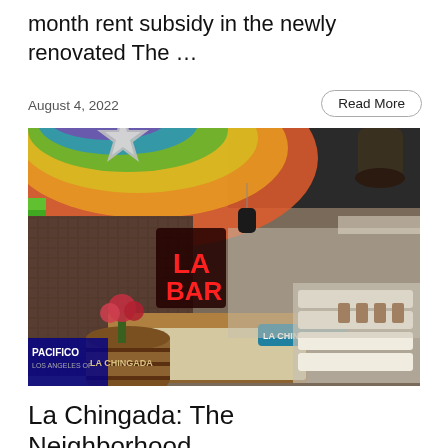month rent subsidy in the newly renovated The …
August 4, 2022
Read More
[Figure (photo): Interior of La Chingada restaurant showing a colorful bar area with rainbow-colored ceiling, decorative star, neon signs, floral arrangements, and dining seating in the background.]
La Chingada: The Neighborhood …